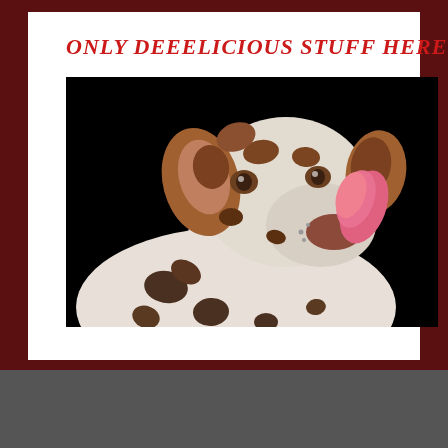ONLY DEEELICIOUS STUFF HERE!
[Figure (photo): A Dalmatian dog with brown and black spots on a black background, licking its nose with a pink tongue, looking upward to the right.]
ARCHIVES